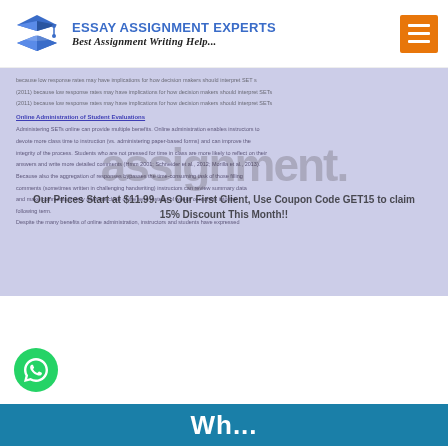[Figure (logo): Essay Assignment Experts logo with graduation cap icon, blue title text, and italic subtitle 'Best Assignment Writing Help...' with orange hamburger menu button]
[Figure (screenshot): Lavender/purple-tinted background with blurred academic text about online administration of student evaluations, overlaid with large semi-transparent text 'assignment.' and promotional text 'Our Prices Start at $11.99. As Our First Client, Use Coupon Code GET15 to claim 15% Discount This Month!!']
[Figure (logo): Green WhatsApp circle icon in bottom left]
[Figure (screenshot): Teal/dark cyan bottom bar with partial white text starting with 'Wh...']